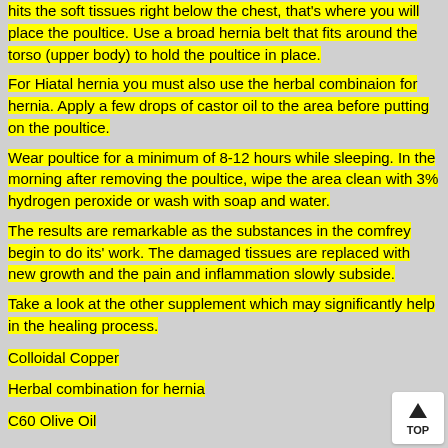hits the soft tissues right below the chest, that's where you will place the poultice. Use a broad hernia belt that fits around the torso (upper body) to hold the poultice in place.
For Hiatal hernia you must also use the herbal combinaion for hernia. Apply a few drops of castor oil to the area before putting on the poultice.
Wear poultice for a minimum of 8-12 hours while sleeping. In the morning after removing the poultice, wipe the area clean with 3% hydrogen peroxide or wash with soap and water.
The results are remarkable as the substances in the comfrey begin to do its' work. The damaged tissues are replaced with new growth and the pain and inflammation slowly subside.
Take a look at the other supplement which may significantly help in the healing process.
Colloidal Copper
Herbal combination for hernia
C60 Olive Oil